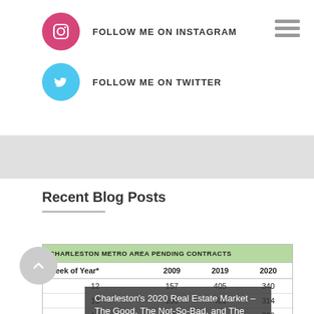[Figure (logo): Instagram icon circle (pink/magenta) with camera icon]
FOLLOW ME ON INSTAGRAM
[Figure (logo): Twitter icon circle (light blue) with bird icon]
FOLLOW ME ON TWITTER
[Figure (other): Hamburger menu icon (three grey horizontal lines) top right]
[Figure (other): Grey banner/advertisement placeholder]
Recent Blog Posts
| Week of Year* | 2009 | 2019 | 2020 |
| --- | --- | --- | --- |
| 12 | 157 | 405 | 340 |
| 13 | 160 | 401 | 314 |
| 14 | 161 | 411 | 269 |
Charleston's 2020 Real Estate Market – The Good, The Not-So-Bad, and The